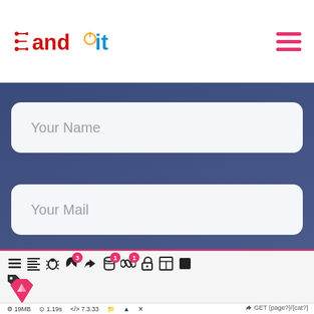[Figure (logo): AND IT company logo with circuit board design in red and blue]
Your Name
Your Mail
Phone Number
[Figure (screenshot): Developer debug toolbar with icons, badges showing 3 and 1, memory usage 19MB, time 1.19s, PHP version 7.3.33, and GET route {page?}/{cat?}]